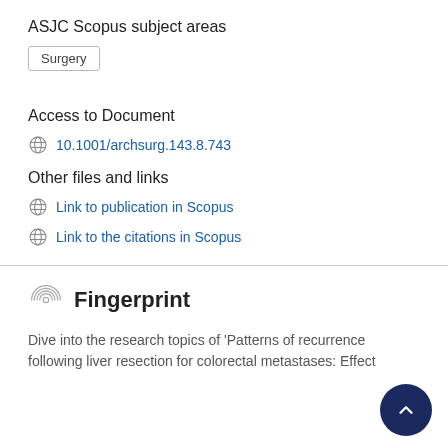ASJC Scopus subject areas
Surgery
Access to Document
10.1001/archsurg.143.8.743
Other files and links
Link to publication in Scopus
Link to the citations in Scopus
Fingerprint
Dive into the research topics of 'Patterns of recurrence following liver resection for colorectal metastases: Effect